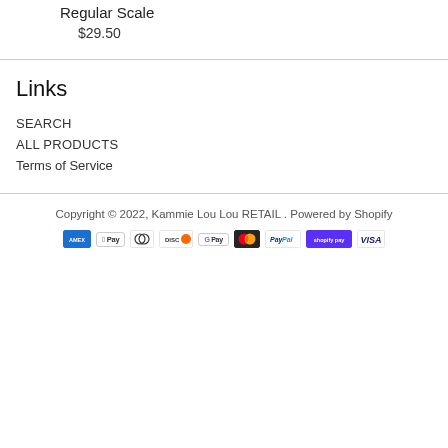Regular Scale
$29.50
Links
SEARCH
ALL PRODUCTS
Terms of Service
Copyright © 2022, Kammie Lou Lou RETAIL . Powered by Shopify
[Figure (other): Payment method icons: American Express, Apple Pay, Diners Club, Discover, Google Pay, Mastercard, PayPal, Shopify Pay, Visa]